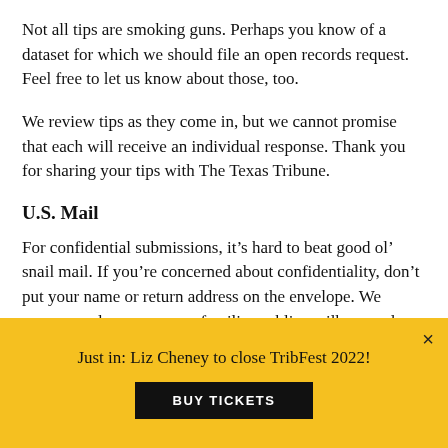Not all tips are smoking guns. Perhaps you know of a dataset for which we should file an open records request. Feel free to let us know about those, too.
We review tips as they come in, but we cannot promise that each will receive an individual response. Thank you for sharing your tips with The Texas Tribune.
U.S. Mail
For confidential submissions, it’s hard to beat good ol’ snail mail. If you’re concerned about confidentiality, don’t put your name or return address on the envelope. We recommend you use an unfamiliar public mailbox — do not send it from home, work or a post office.
Just in: Liz Cheney to close TribFest 2022!
BUY TICKETS